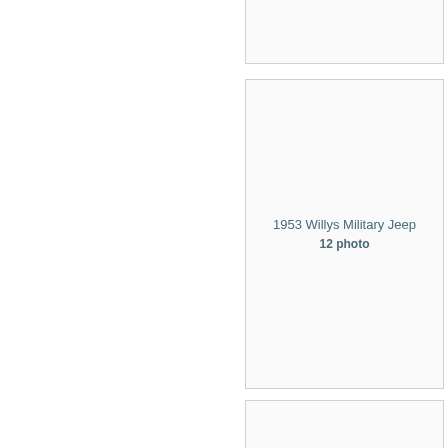[Figure (photo): Top partial card — mostly blank white space, cropped at top of page]
[Figure (photo): Middle card showing 1953 Willys Military Jeep photo placeholder with label '1953 Willys Military Jeep' and '12 photo']
1953 Willys Military Jeep
12 photo
[Figure (photo): Bottom partial card — mostly blank white space, cropped at bottom of page]